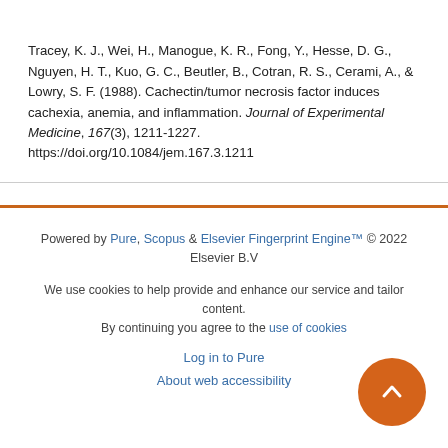Tracey, K. J., Wei, H., Manogue, K. R., Fong, Y., Hesse, D. G., Nguyen, H. T., Kuo, G. C., Beutler, B., Cotran, R. S., Cerami, A., & Lowry, S. F. (1988). Cachectin/tumor necrosis factor induces cachexia, anemia, and inflammation. Journal of Experimental Medicine, 167(3), 1211-1227. https://doi.org/10.1084/jem.167.3.1211
Powered by Pure, Scopus & Elsevier Fingerprint Engine™ © 2022 Elsevier B.V
We use cookies to help provide and enhance our service and tailor content. By continuing you agree to the use of cookies
Log in to Pure
About web accessibility